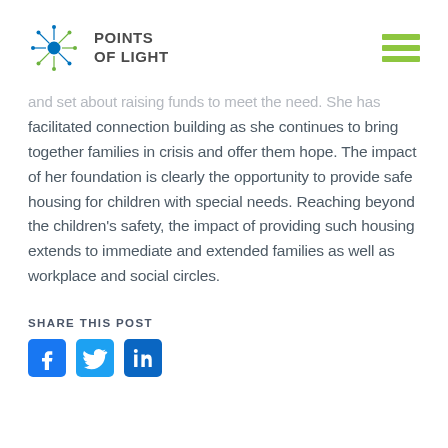Points of Light
and set about raising funds to meet the need. She has facilitated connection building as she continues to bring together families in crisis and offer them hope. The impact of her foundation is clearly the opportunity to provide safe housing for children with special needs. Reaching beyond the children's safety, the impact of providing such housing extends to immediate and extended families as well as workplace and social circles.
SHARE THIS POST
[Figure (other): Social media share icons for Facebook, Twitter, and LinkedIn]